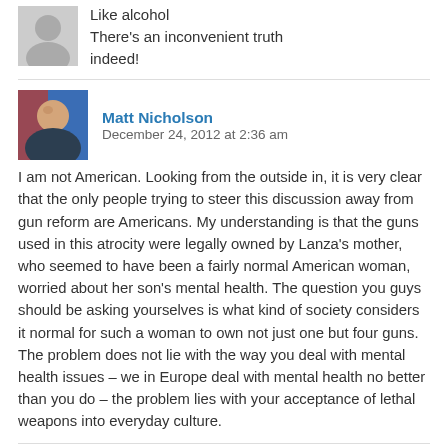Like alcohol There's an inconvenient truth indeed!
Matt Nicholson  December 24, 2012 at 2:36 am
I am not American. Looking from the outside in, it is very clear that the only people trying to steer this discussion away from gun reform are Americans. My understanding is that the guns used in this atrocity were legally owned by Lanza's mother, who seemed to have been a fairly normal American woman, worried about her son's mental health. The question you guys should be asking yourselves is what kind of society considers it normal for such a woman to own not just one but four guns. The problem does not lie with the way you deal with mental health issues – we in Europe deal with mental health no better than you do – the problem lies with your acceptance of lethal weapons into everyday culture.